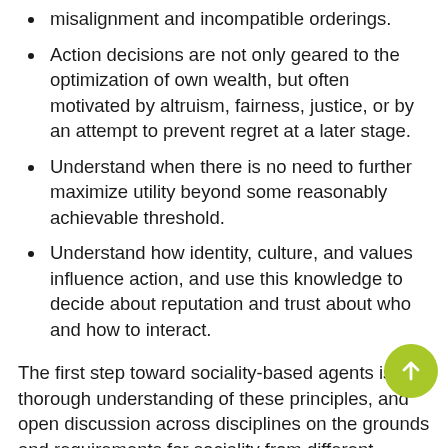misalignment and incompatible orderings.
Action decisions are not only geared to the optimization of own wealth, but often motivated by altruism, fairness, justice, or by an attempt to prevent regret at a later stage.
Understand when there is no need to further maximize utility beyond some reasonably achievable threshold.
Understand how identity, culture, and values influence action, and use this knowledge to decide about reputation and trust about who and how to interact.
The first step toward sociality-based agents is a thorough understanding of these principles, and open discussion across disciplines on the grounds and requirements for sociality from different perspectives. This discussion will be fundamental to the development of formal models and agent architectures that make sociality-based behavior possible and verifiable.